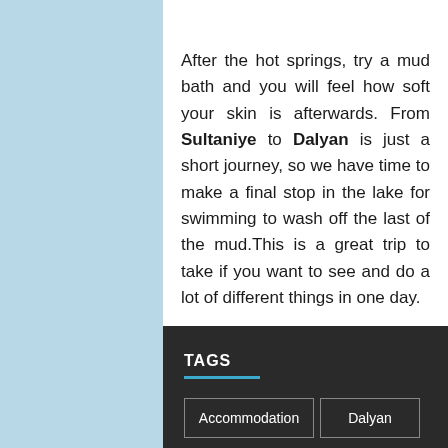After the hot springs, try a mud bath and you will feel how soft your skin is afterwards. From Sultaniye to Dalyan is just a short journey, so we have time to make a final stop in the lake for swimming to wash off the last of the mud.This is a great trip to take if you want to see and do a lot of different things in one day.
TAGS
Accommodation
Dalyan